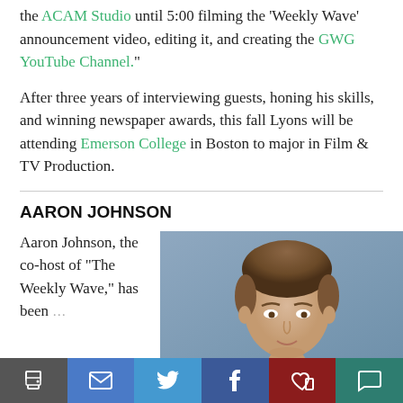the ACAM Studio until 5:00 filming the 'Weekly Wave' announcement video, editing it, and creating the GWG YouTube Channel."
After three years of interviewing guests, honing his skills, and winning newspaper awards, this fall Lyons will be attending Emerson College in Boston to major in Film & TV Production.
AARON JOHNSON
Aaron Johnson, the co-host of "The Weekly Wave," has been...
[Figure (photo): Headshot of Aaron Johnson, a young man with light brown hair, photographed against a blue-grey background]